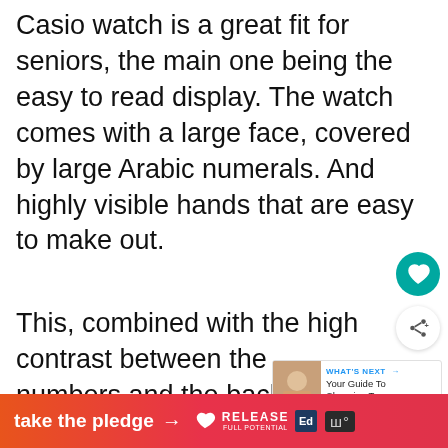Casio watch is a great fit for seniors, the main one being the easy to read display. The watch comes with a large face, covered by large Arabic numerals. And highly visible hands that are easy to make out.
This, combined with the high contrast between the numbers and the background make it possible fo... including those with diminished eyesight to
[Figure (other): Teal heart/favorite button (circular icon)]
[Figure (other): Share button (circular icon with share symbol)]
[Figure (other): What's Next promotional box with thumbnail image and text: WHAT'S NEXT → Your Guide To Choosing T...]
[Figure (other): Bottom advertisement banner: 'take the pledge →' with RELEASE logo, Ed logo, and wave icons]